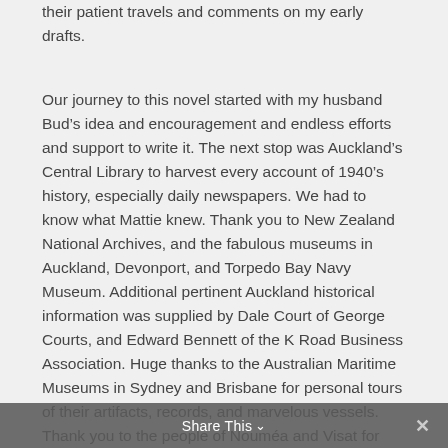their patient travels and comments on my early drafts.
Our journey to this novel started with my husband Bud’s idea and encouragement and endless efforts and support to write it. The next stop was Auckland’s Central Library to harvest every account of 1940’s history, especially daily newspapers. We had to know what Mattie knew. Thank you to New Zealand National Archives, and the fabulous museums in Auckland, Devonport, and Torpedo Bay Navy Museum. Additional pertinent Auckland historical information was supplied by Dale Court of George Courts, and Edward Bennett of the K Road Business Association. Huge thanks to the Australian Maritime Museums in Sydney and Brisbane for personal tours of their artifacts, records, and marvelous vessels. Thank you to the people of Nouméa and Visat for guided tours throughout Charlie’s territory, and sharing their records